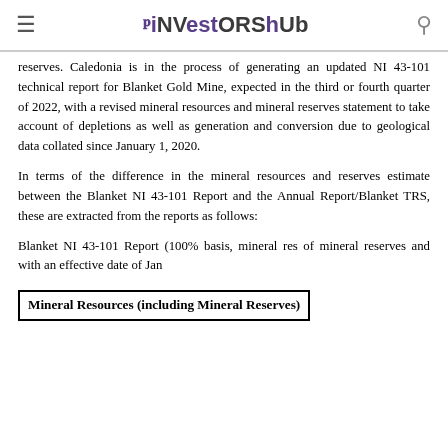≡  iNVestorsHub  🔍
reserves. Caledonia is in the process of generating an updated NI 43-101 technical report for Blanket Gold Mine, expected in the third or fourth quarter of 2022, with a revised mineral resources and mineral reserves statement to take account of depletions as well as generation and conversion due to geological data collated since January 1, 2020.
In terms of the difference in the mineral resources and reserves estimate between the Blanket NI 43-101 Report and the Annual Report/Blanket TRS, these are extracted from the reports as follows:
Blanket NI 43-101 Report (100% basis, mineral res of mineral reserves and with an effective date of Jan
Mineral Resources (including Mineral Reserves)